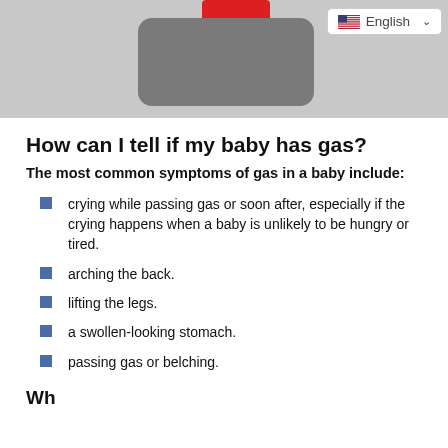[Figure (photo): Partial screenshot of a device or product page with a gray device and red element visible, and an English language selector dropdown in the top right corner.]
How can I tell if my baby has gas?
The most common symptoms of gas in a baby include:
crying while passing gas or soon after, especially if the crying happens when a baby is unlikely to be hungry or tired.
arching the back.
lifting the legs.
a swollen-looking stomach.
passing gas or belching.
Wh...